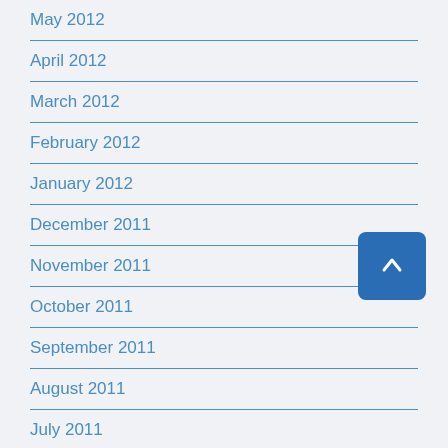May 2012
April 2012
March 2012
February 2012
January 2012
December 2011
November 2011
October 2011
September 2011
August 2011
July 2011
June 2011